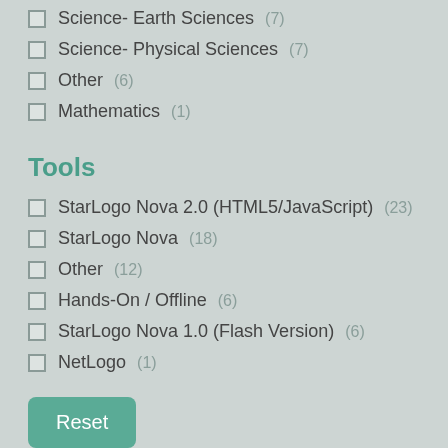Science- Earth Sciences (7)
Science- Physical Sciences (7)
Other (6)
Mathematics (1)
Tools
StarLogo Nova 2.0 (HTML5/JavaScript) (23)
StarLogo Nova (18)
Other (12)
Hands-On / Offline (6)
StarLogo Nova 1.0 (Flash Version) (6)
NetLogo (1)
Reset